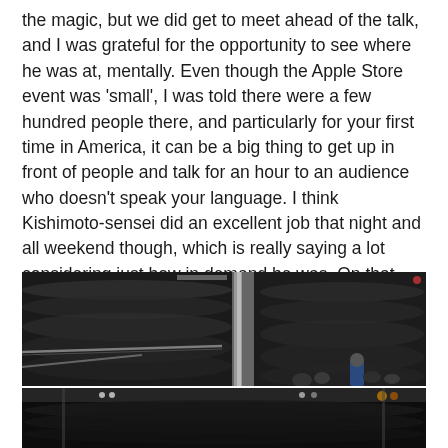the magic, but we did get to meet ahead of the talk, and I was grateful for the opportunity to see where he was at, mentally. Even though the Apple Store event was 'small', I was told there were a few hundred people there, and particularly for your first time in America, it can be a big thing to get up in front of people and talk for an hour to an audience who doesn't speak your language. I think Kishimoto-sensei did an excellent job that night and all weekend though, which is really saying a lot considering just how in demand he was. On that note...
[Figure (photo): Two photographs of a large crowd at an event. The top photo shows a massive crowd in a darkened venue with a structural pillar visible and crowd control barriers. The bottom photo shows another angle of the crowd in the same venue with stage lighting visible.]